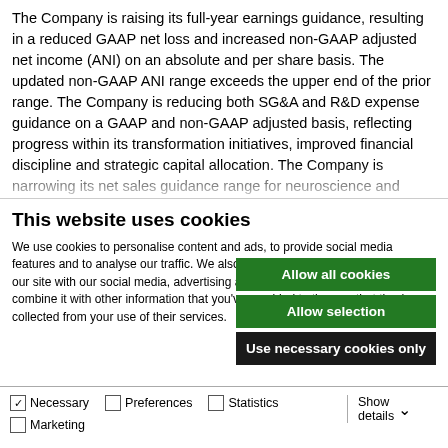The Company is raising its full-year earnings guidance, resulting in a reduced GAAP net loss and increased non-GAAP adjusted net income (ANI) on an absolute and per share basis. The updated non-GAAP ANI range exceeds the upper end of the prior range. The Company is reducing both SG&A and R&D expense guidance on a GAAP and non-GAAP adjusted basis, reflecting progress within its transformation initiatives, improved financial discipline and strategic capital allocation. The Company is narrowing its net sales guidance range for neuroscience and oncology, with a
This website uses cookies
We use cookies to personalise content and ads, to provide social media features and to analyse our traffic. We also share information about your use of our site with our social media, advertising and analytics partners who may combine it with other information that you've provided to them or that they've collected from your use of their services.
Allow all cookies
Allow selection
Use necessary cookies only
Necessary | Preferences | Statistics | Marketing | Show details